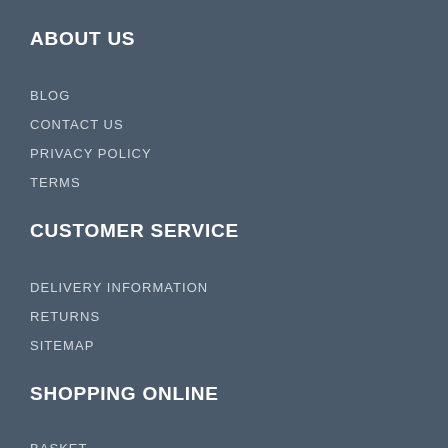ABOUT US
BLOG
CONTACT US
PRIVACY POLICY
TERMS
CUSTOMER SERVICE
DELIVERY INFORMATION
RETURNS
SITEMAP
SHOPPING ONLINE
BASKET